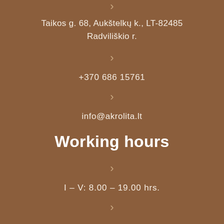>
Taikos g. 68, Aukštelkų k., LT-82485 Radviliškio r.
>
+370 686 15761
>
info@akrolita.lt
Working hours
>
I – V: 8.00 – 19.00 hrs.
>